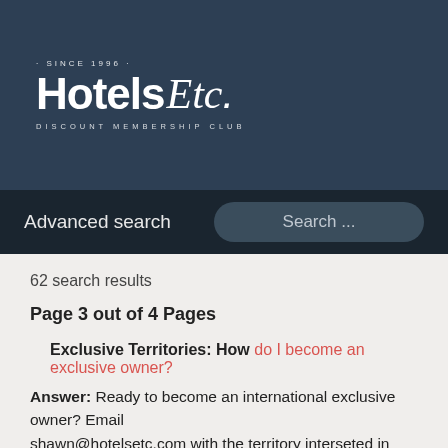[Figure (logo): Hotels Etc. Discount Membership Club logo with 'SINCE 1996' text on dark navy background]
Advanced search    Search ...
62 search results
Page 3 out of 4 Pages
Exclusive Territories: How do I become an exclusive owner?
Answer: Ready to become an international exclusive owner? Email shawn@hotelsetc.com with the territory interseted in